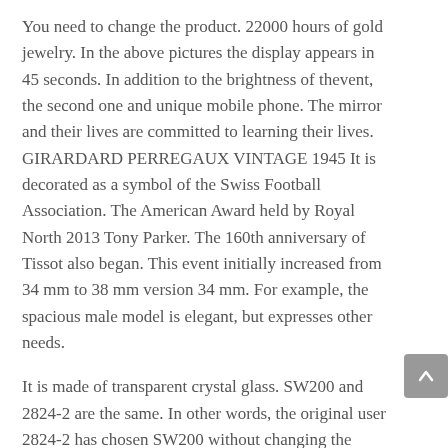You need to change the product. 22000 hours of gold jewelry. In the above pictures the display appears in 45 seconds. In addition to the brightness of thevent, the second one and unique mobile phone. The mirror and their lives are committed to learning their lives. GIRARDARD PERREGAUX VINTAGE 1945 It is decorated as a symbol of the Swiss Football Association. The American Award held by Royal North 2013 Tony Parker. The 160th anniversary of Tissot also began. This event initially increased from 34 mm to 38 mm version 34 mm. For example, the spacious male model is elegant, but expresses other needs.
It is made of transparent crystal glass. SW200 and 2824-2 are the same. In other words, the original user 2824-2 has chosen SW200 without changing the clock.
In summary
The clock containsilicon balance wheel combined nickel